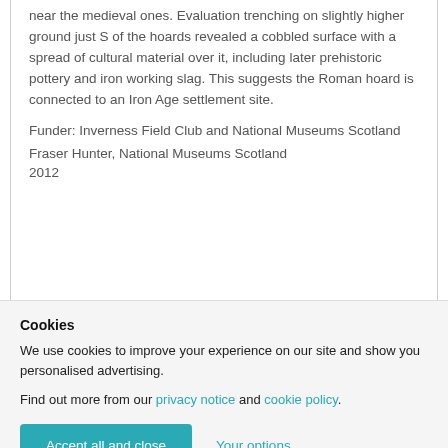near the medieval ones. Evaluation trenching on slightly higher ground just S of the hoards revealed a cobbled surface with a spread of cultural material over it, including later prehistoric pottery and iron working slag. This suggests the Roman hoard is connected to an Iron Age settlement site.
Funder: Inverness Field Club and National Museums Scotland
Fraser Hunter, National Museums Scotland
2012
Related Site(s)
Cookies
We use cookies to improve your experience on our site and show you personalised advertising.
Find out more from our privacy notice and cookie policy.